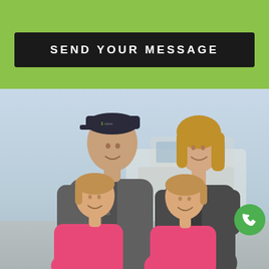SEND YOUR MESSAGE
[Figure (photo): Family portrait of four people wearing 1Class branded grey zip-up jackets. A tall man in a dark baseball cap stands in the back left, a blonde woman stands in the back right. Two young girls wearing pink jackets are in the front. A green phone call button is visible in the lower right corner.]